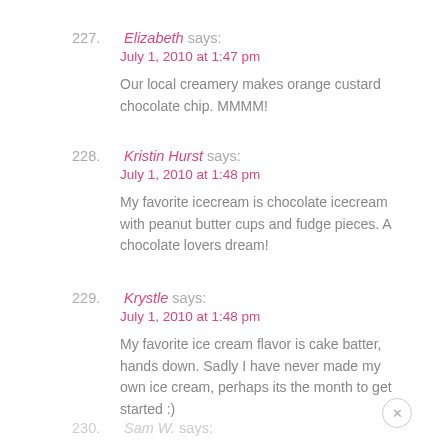227. Elizabeth says: July 1, 2010 at 1:47 pm — Our local creamery makes orange custard chocolate chip. MMMM!
228. Kristin Hurst says: July 1, 2010 at 1:48 pm — My favorite icecream is chocolate icecream with peanut butter cups and fudge pieces. A chocolate lovers dream!
229. Krystle says: July 1, 2010 at 1:48 pm — My favorite ice cream flavor is cake batter, hands down. Sadly I have never made my own ice cream, perhaps its the month to get started :)
230. Sam W. says: